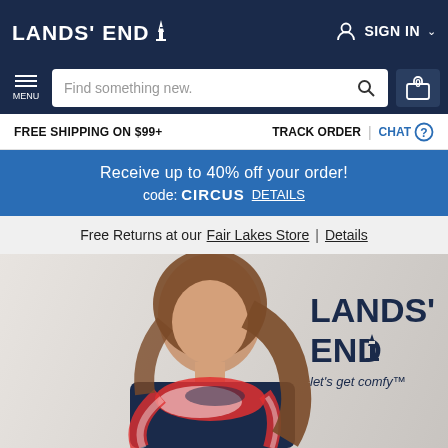LANDS' END — Sign In
Find something new.
FREE SHIPPING ON $99+   TRACK ORDER | CHAT
Receive up to 40% off your order! code: CIRCUS  DETAILS
Free Returns at our Fair Lakes Store | Details
[Figure (photo): Woman wearing a navy sleeveless top and a red, white and navy patterned scarf, smiling and looking up. Lands' End logo and 'let's get comfy' tagline overlaid on the right side.]